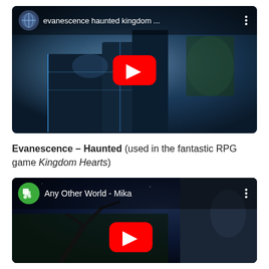[Figure (screenshot): YouTube video thumbnail for 'evanescence haunted kingdom ...' showing a dark fantasy scene with glowing elements and a red YouTube play button]
Evanescence – Haunted (used in the fantastic RPG game Kingdom Hearts)
[Figure (screenshot): YouTube video thumbnail for 'Any Other World - Mika' showing a dark outdoor scene with a green channel icon and a red YouTube play button]